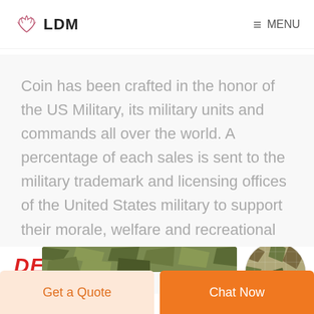LDM  MENU
Coin has been crafted in the honor of the US Military, its military units and commands all over the world. A percentage of each sales is sent to the military trademark and licensing offices of the United States military to support their morale, welfare and recreational programs.
[Figure (logo): DEEKON logo in bold red italic text with camouflage fabric image]
Get a Quote
Chat Now